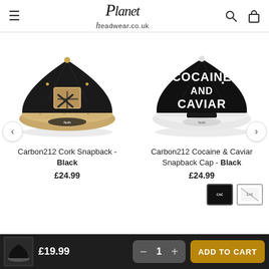[Figure (logo): Planet Headwear logo in script/sans font]
[Figure (photo): Carbon212 Cork Snapback Cap - Black with cork brim and patch]
Carbon212 Cork Snapback - Black
£24.99
[Figure (photo): Carbon212 Cocaine & Caviar Snapback Cap - Black with white brim and white text on front]
Carbon212 Cocaine & Caviar Snapback Cap - Black
£24.99
[Figure (screenshot): Bottom add-to-cart bar with product thumbnail, price £19.99, quantity selector and ADD TO CART button]